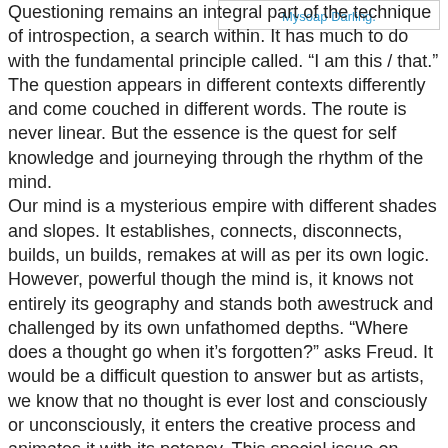Mysoap Darling.
Questioning remains an integral part of the technique of introspection, a search within. It has much to do with the fundamental principle called. “I am this / that.” The question appears in different contexts differently and come couched in different words. The route is never linear. But the essence is the quest for self knowledge and journeying through the rhythm of the mind.
Our mind is a mysterious empire with different shades and slopes. It establishes, connects, disconnects, builds, un builds, remakes at will as per its own logic. However, powerful though the mind is, it knows not entirely its geography and stands both awestruck and challenged by its own unfathomed depths. “Where does a thought go when it’s forgotten?” asks Freud. It would be a difficult question to answer but as artists, we know that no thought is ever lost and consciously or unconsciously, it enters the creative process and animates it with its potency. This special issue on ‘Icebergs in the Mind’ invites submissions that illuminate this complex process of creation whereby dream, desire and memory all fuse together to produce writing that illuminates the less-explored margins of our understanding.